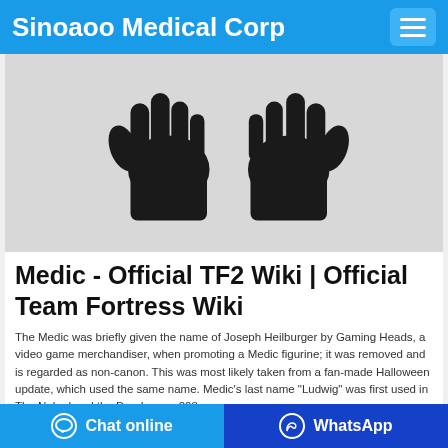Sinoaoo Medical Corp
[Figure (photo): Two black nitrile/latex medical gloves worn on human hands, shown against a light gray background]
Medic - Official TF2 Wiki | Official Team Fortress Wiki
The Medic was briefly given the name of Joseph Heilburger by Gaming Heads, a video game merchandiser, when promoting a Medic figurine; it was removed and is regarded as non-canon. This was most likely taken from a fan-made Halloween update, which used the same name. Medic's last name "Ludwig" was first used in The Naked and the Dead, page 208 ...
Chat online   WhatsApp